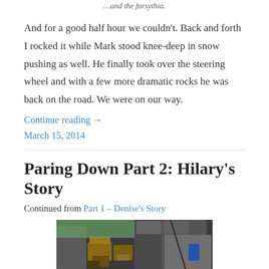…and the forsythia.
And for a good half hour we couldn't. Back and forth I rocked it while Mark stood knee-deep in snow pushing as well. He finally took over the steering wheel and with a few more dramatic rocks he was back on the road. We were on our way.
Continue reading →
March 15, 2014
Paring Down Part 2: Hilary's Story
Continued from Part 1 – Denise's Story
[Figure (photo): Interior of a car packed with boxes and items, viewed from front seat looking back.]